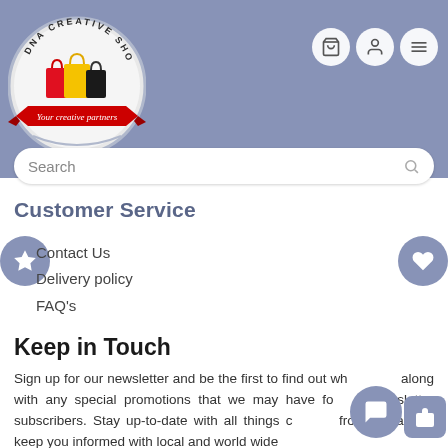[Figure (logo): DNA Creative Shoppe circular logo with shopping bags and ribbon banner reading 'Your creative partners']
Search
Customer Service
Contact Us
Delivery policy
FAQ's
Keep in Touch
Sign up for our newsletter and be the first to find out what's new along with any special promotions that we may have for our newsletter subscribers. Stay up-to-date with all things creative from us, as we keep you informed with local and world wide events monthly. We are your creative partners.